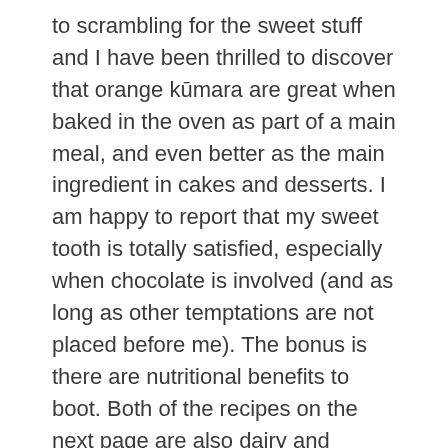to scrambling for the sweet stuff and I have been thrilled to discover that orange kūmara are great when baked in the oven as part of a main meal, and even better as the main ingredient in cakes and desserts. I am happy to report that my sweet tooth is totally satisfied, especially when chocolate is involved (and as long as other temptations are not placed before me). The bonus is there are nutritional benefits to boot. Both of the recipes on the next page are also dairy and gluten-free, another big bonus.
While sugar is supposedly hell-bound on depleting my body of all sorts of essential necessaries and compromising my immune system, kūmara does the opposite. It feeds it with energy-giving carbohydrates, lots of fibre, almost no fat and a host of nutrients and